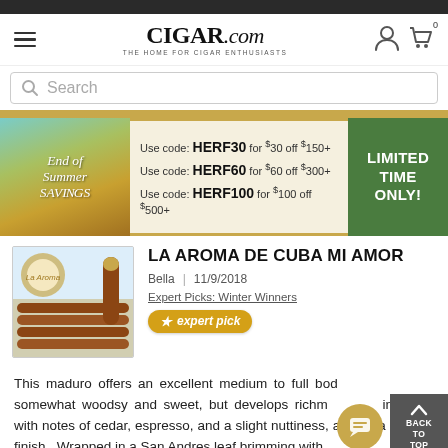CIGAR.com - THE HOME FOR CIGAR ENTHUSIASTS
Search
[Figure (infographic): End of Summer Savings promo banner: Use code HERF30 for $30 off $150+, Use code HERF60 for $60 off $300+, Use code HERF100 for $100 off $500+. LIMITED TIME ONLY!]
LA AROMA DE CUBA MI AMOR
Bella | 11/9/2018
Expert Picks: Winter Winners
expert pick
This maduro offers an excellent medium to full body that starts off somewhat woodsy and sweet, but develops richness during the burn with notes of cedar, espresso, and a slight nuttiness, all with a creamy finish. Wrapped in a San Andres leaf brimming with